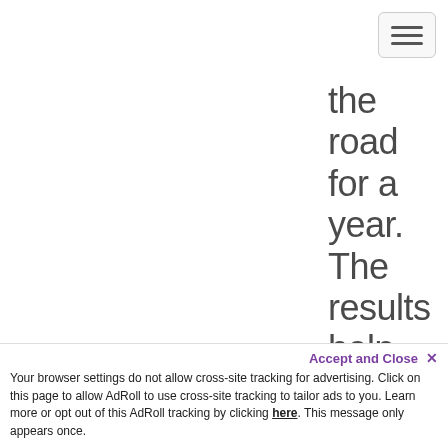the road for a year. The results help us understand how investment decisions with
Accept and Close ✕
Your browser settings do not allow cross-site tracking for advertising. Click on this page to allow AdRoll to use cross-site tracking to tailor ads to you. Learn more or opt out of this AdRoll tracking by clicking here. This message only appears once.